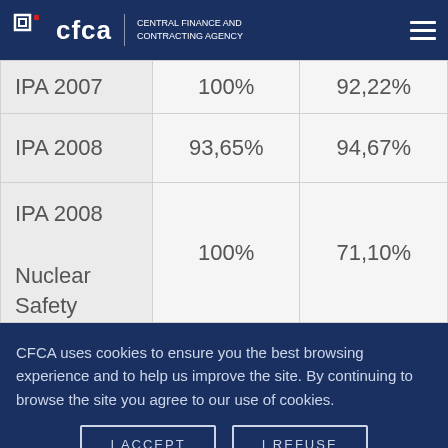CFCA | CENTRAL FINANCE AND CONTRACTING AGENCY
| IPA 2007 | 100% | 92,22% |
| IPA 2008 | 93,65% | 94,67% |
| IPA 2008 Nuclear Safety | 100% | 71,10% |
CFCA uses cookies to ensure you the best browsing experience and to help us improve the site. By continuing to browse the site you agree to our use of cookies.